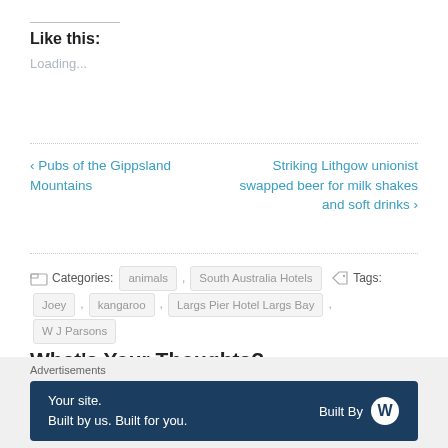Like this:
Loading...
‹ Pubs of the Gippsland Mountains
Striking Lithgow unionist swapped beer for milk shakes and soft drinks ›
Categories: animals , South Australia Hotels   Tags: Joey , kangaroo , Largs Pier Hotel Largs Bay , W J Parsons
What's Your Thoughts?
Advertisements
Your site. Built by us. Built for you.  Built By [WordPress logo]